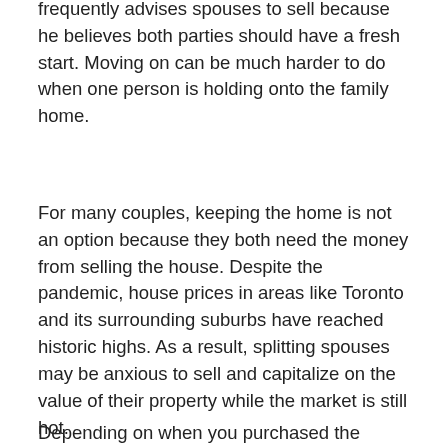frequently advises spouses to sell because he believes both parties should have a fresh start. Moving on can be much harder to do when one person is holding onto the family home.
For many couples, keeping the home is not an option because they both need the money from selling the house. Despite the pandemic, house prices in areas like Toronto and its surrounding suburbs have reached historic highs. As a result, splitting spouses may be anxious to sell and capitalize on the value of their property while the market is still hot.
Depending on when you purchased the